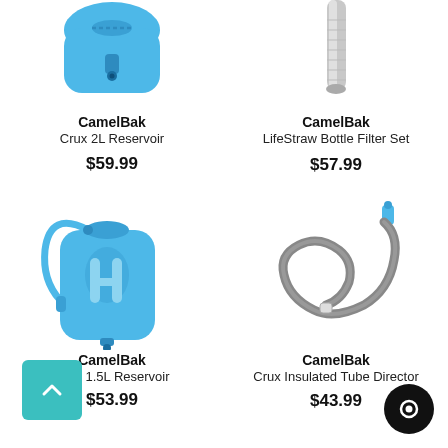[Figure (photo): CamelBak Crux 2L Reservoir hydration bladder, blue, top portion visible]
CamelBak
Crux 2L Reservoir
$59.99
[Figure (photo): CamelBak LifeStraw Bottle Filter Set, metallic filter straw, top portion visible]
CamelBak
LifeStraw Bottle Filter Set
$57.99
[Figure (photo): CamelBak Crux 1.5L Reservoir hydration bladder, blue, full view with drinking tube]
CamelBak
Crux 1.5L Reservoir
$53.99
[Figure (photo): CamelBak Crux Insulated Tube Director, grey coiled tube with blue connector]
CamelBak
Crux Insulated Tube Director
$43.99